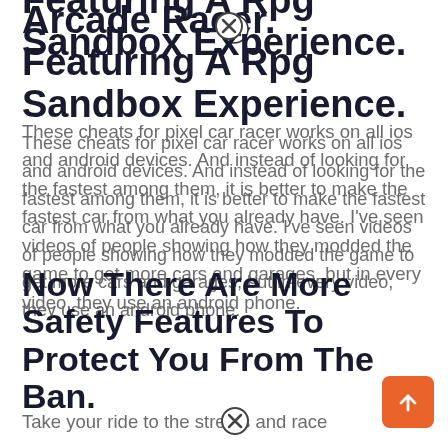Arcade Racer. Featuring A Rpg Sandbox Experience.
These cheats for pixel car racer works on all ios and android devices. And instead of looking for the fastest among them, it is better to make the fastest car from what you already have. I've seen videos of people showing how they modded the game to get more cars and garages, but in every video, they use an android phone.
Now There Are More Safety Features To Protect You From The Ban.
Take your ride to the streets and race your way to the top. Features • drag, street, story game modes • over 50+ cars! Take your ride to the...